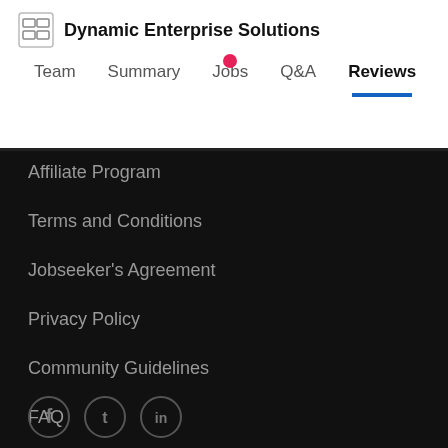Dynamic Enterprise Solutions — Team | Summary | Jobs | Q&A | Reviews
Affiliate Program
Terms and Conditions
Jobseeker's Agreement
Privacy Policy
Community Guidelines
FAQ
Notice of Personal Information Collected
Do Not Sell My Personal Information
[Figure (illustration): Social media icons: Facebook, Twitter, LinkedIn]